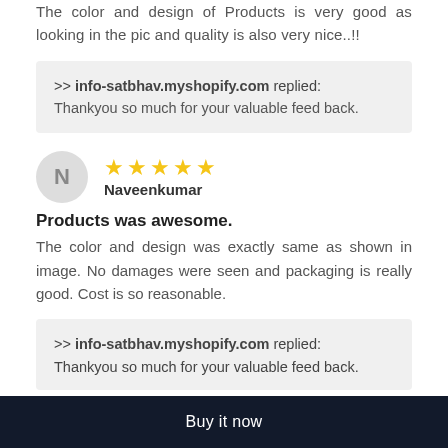The color and design of Products is very good as looking in the pic and quality is also very nice..!!
>> info-satbhav.myshopify.com replied: Thankyou so much for your valuable feed back.
N
Naveenkumar
Products was awesome.
The color and design was exactly same as shown in image. No damages were seen and packaging is really good. Cost is so reasonable.
>> info-satbhav.myshopify.com replied: Thankyou so much for your valuable feed back.
Buy it now